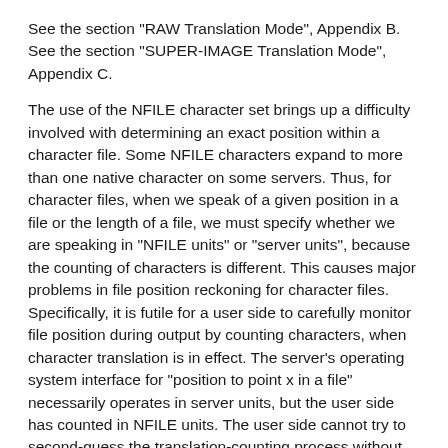See the section "RAW Translation Mode", Appendix B. See the section "SUPER-IMAGE Translation Mode", Appendix C.
The use of the NFILE character set brings up a difficulty involved with determining an exact position within a character file. Some NFILE characters expand to more than one native character on some servers. Thus, for character files, when we speak of a given position in a file or the length of a file, we must specify whether we are speaking in "NFILE units" or "server units", because the counting of characters is different. This causes major problems in file position reckoning for character files. Specifically, it is futile for a user side to carefully monitor file position during output by counting characters, when character translation is in effect. The server's operating system interface for "position to point x in a file" necessarily operates in server units, but the user side has counted in NFILE units. The user side cannot try to second-guess the translation-counting process without losing host- independence. See the section "FILEPOS NFILE Command".